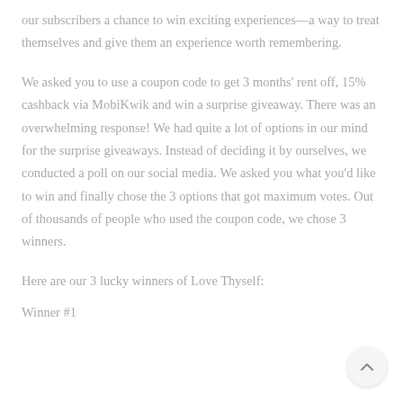our subscribers a chance to win exciting experiences—a way to treat themselves and give them an experience worth remembering.
We asked you to use a coupon code to get 3 months' rent off, 15% cashback via MobiKwik and win a surprise giveaway. There was an overwhelming response! We had quite a lot of options in our mind for the surprise giveaways. Instead of deciding it by ourselves, we conducted a poll on our social media. We asked you what you'd like to win and finally chose the 3 options that got maximum votes. Out of thousands of people who used the coupon code, we chose 3 winners.
Here are our 3 lucky winners of Love Thyself:
Winner #1